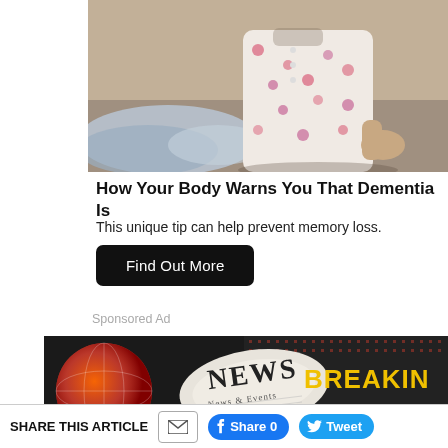[Figure (photo): Elderly person in floral pajamas sitting on a bed, visible from torso down, with rumpled bedding]
How Your Body Warns You That Dementia Is
This unique tip can help prevent memory loss.
Find Out More
Sponsored Ad
[Figure (infographic): News banner ad with a rolled newspaper reading NEWS News & Events on a dark background with red globe graphic and text BREAKING Sent Daily]
SHARE THIS ARTICLE
Share 0
Tweet